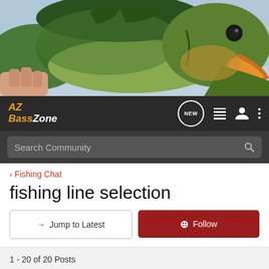[Figure (photo): Close-up photo of a largemouth bass fish being held, showing its open mouth and green/gold coloring against a light background]
AZ BassZone — navigation bar with NEW, list, person, and menu icons, plus Search Community search bar
< Fishing Chat
fishing line selection
→ Jump to Latest   ⊕ Follow
1 - 20 of 20 Posts
Guest ·